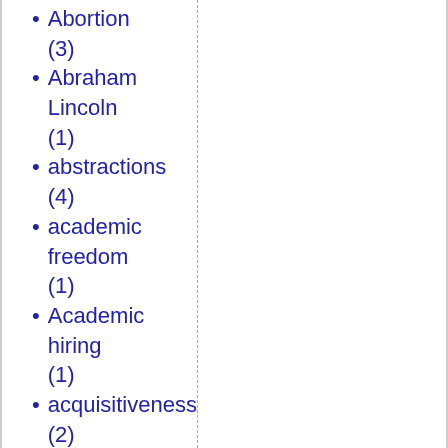Abortion (3)
Abraham Lincoln (1)
abstractions (4)
academic freedom (1)
Academic hiring (1)
acquisitiveness (2)
activism (1)
Adam and Eve (7)
Adam Smith (2)
adoption